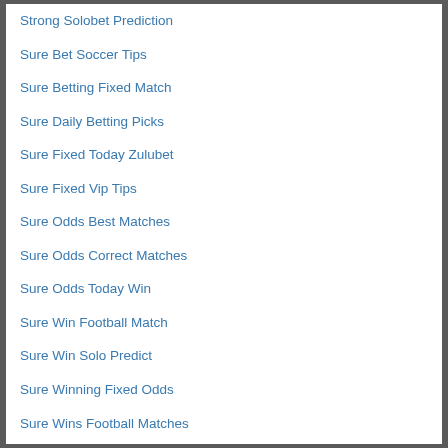Strong Solobet Prediction
Sure Bet Soccer Tips
Sure Betting Fixed Match
Sure Daily Betting Picks
Sure Fixed Today Zulubet
Sure Fixed Vip Tips
Sure Odds Best Matches
Sure Odds Correct Matches
Sure Odds Today Win
Sure Win Football Match
Sure Win Solo Predict
Sure Winning Fixed Odds
Sure Wins Football Matches
Today Banker Matches
Today Big Odds Matches